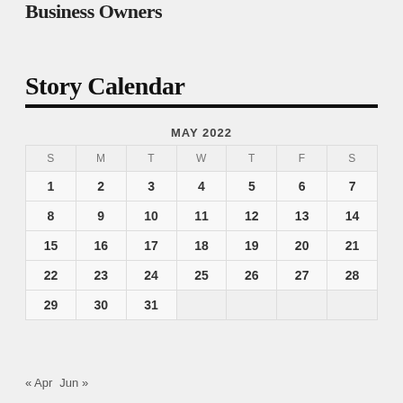Business Owners
Story Calendar
| S | M | T | W | T | F | S |
| --- | --- | --- | --- | --- | --- | --- |
| 1 | 2 | 3 | 4 | 5 | 6 | 7 |
| 8 | 9 | 10 | 11 | 12 | 13 | 14 |
| 15 | 16 | 17 | 18 | 19 | 20 | 21 |
| 22 | 23 | 24 | 25 | 26 | 27 | 28 |
| 29 | 30 | 31 |  |  |  |  |
« Apr   Jun »